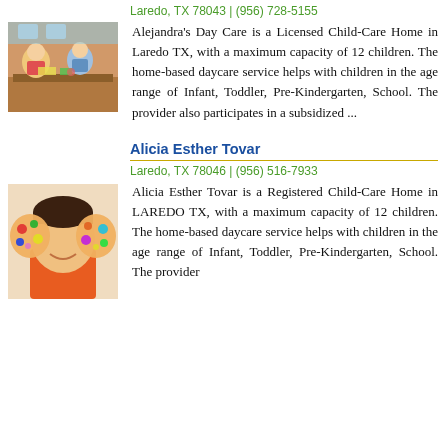Laredo, TX 78043 | (956) 728-5155
[Figure (photo): Children doing crafts at a table, daycare setting]
Alejandra's Day Care is a Licensed Child-Care Home in Laredo TX, with a maximum capacity of 12 children. The home-based daycare service helps with children in the age range of Infant, Toddler, Pre-Kindergarten, School. The provider also participates in a subsidized ...
Alicia Esther Tovar
Laredo, TX 78046 | (956) 516-7933
[Figure (photo): Child with painted hands covering face, colorful paint]
Alicia Esther Tovar is a Registered Child-Care Home in LAREDO TX, with a maximum capacity of 12 children. The home-based daycare service helps with children in the age range of Infant, Toddler, Pre-Kindergarten, School. The provider